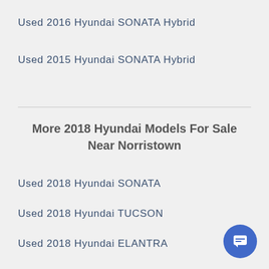Used 2016 Hyundai SONATA Hybrid
Used 2015 Hyundai SONATA Hybrid
More 2018 Hyundai Models For Sale Near Norristown
Used 2018 Hyundai SONATA
Used 2018 Hyundai TUCSON
Used 2018 Hyundai ELANTRA
Used 2018 Hyundai KONA
Used 2018 Hyundai SANTA FE